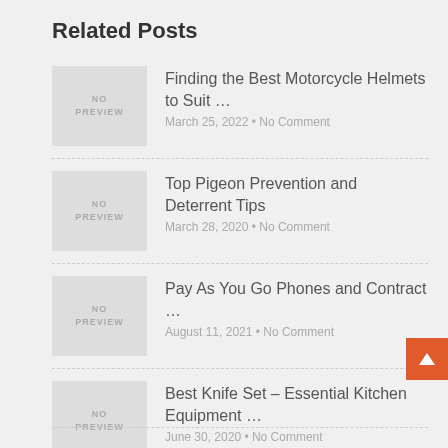Related Posts
Finding the Best Motorcycle Helmets to Suit … March 25, 2022 • No Comment
Top Pigeon Prevention and Deterrent Tips March 28, 2020 • No Comment
Pay As You Go Phones and Contract … August 11, 2021 • No Comment
Best Knife Set – Essential Kitchen Equipment … June 30, 2020 • No Comment